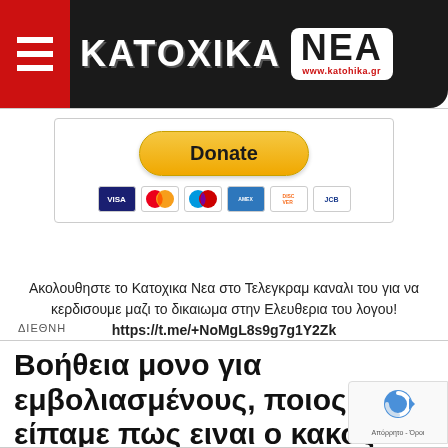[Figure (logo): Katochika Nea website header logo with red hamburger menu icon on left and dark rounded header with KATOCHIKA NEA text and www.katohika.gr URL]
[Figure (infographic): PayPal Donate button with yellow rounded button labeled Donate and credit card icons (VISA, Mastercard, American Express, Discover, JCB) below]
Ακολουθηστε το Κατοχικα Νεα στο Τελεγκραμ καναλι του για να κερδισουμε μαζι το δικαιωμα στην Ελευθερια του λογου! https://t.me/+NoMgL8s9g7g1Y2Zk
ΔΙΕΘΝΗ
Βοήθεια μονο για εμβολιασμένους, ποιος είπαμε πως ειναι ο κακός ο λύκος εδω!